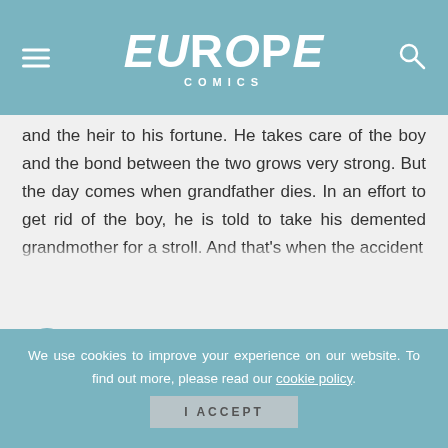Europe Comics
and the heir to his fortune. He takes care of the boy and the bond between the two grows very strong. But the day comes when grandfather dies. In an effort to get rid of the boy, he is told to take his demented grandmother for a stroll. And that's when the accident
7,49€
We use cookies to improve your experience on our website. To find out more, please read our cookie policy.
I ACCEPT